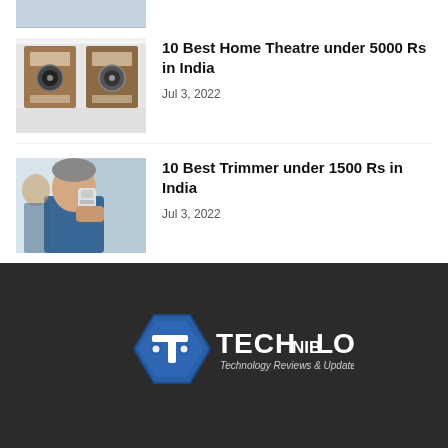[Figure (photo): Partial top view of a laptop or tech accessory, cropped]
[Figure (photo): Home theatre speaker system on white background]
10 Best Home Theatre under 5000 Rs in India
Jul 3, 2022
[Figure (photo): Man using electric trimmer/shaver in bathroom mirror]
10 Best Trimmer under 1500 Rs in India
Jul 3, 2022
[Figure (logo): Techniblogic logo — blue hexagon with T icon, text TECHNIBLOGIC Technology Reviews & Updates .com]